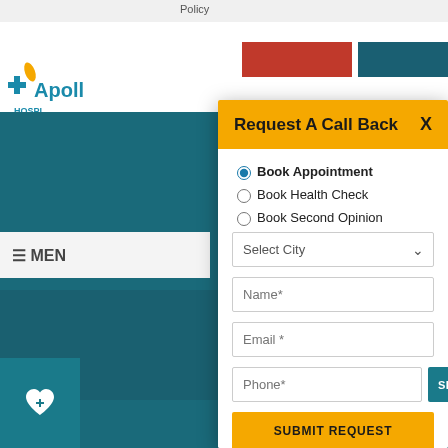Policy
[Figure (screenshot): Apollo Hospitals website background with logo, navigation buttons, menu bar, breadcrumb (Home > Condition...) and teal background with people images]
Request A Call Back
Book Appointment (selected)
Book Health Check
Book Second Opinion
Select City
Name*
Email*
Phone*
SEND OTP
SUBMIT REQUEST